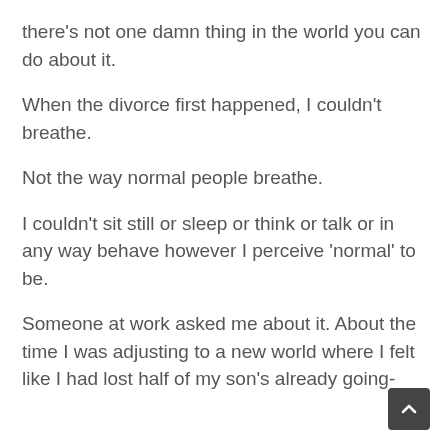there's not one damn thing in the world you can do about it.
When the divorce first happened, I couldn't breathe.
Not the way normal people breathe.
I couldn't sit still or sleep or think or talk or in any way behave however I perceive 'normal' to be.
Someone at work asked me about it. About the time I was adjusting to a new world where I felt like I had lost half of my son's already going-